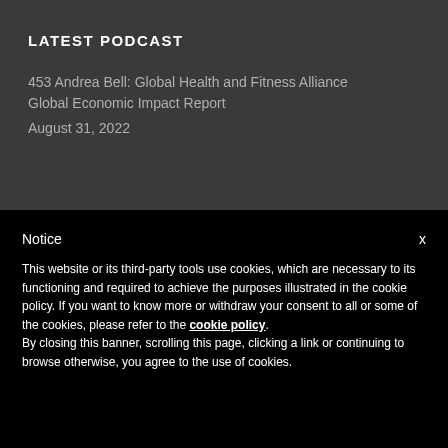LATEST PODCAST
453 Andrea Bell: Global Health and Fitness Alliance Global Economic Impact Report
August 31, 2022
Notice
This website or its third-party tools use cookies, which are necessary to its functioning and required to achieve the purposes illustrated in the cookie policy. If you want to know more or withdraw your consent to all or some of the cookies, please refer to the cookie policy.
By closing this banner, scrolling this page, clicking a link or continuing to browse otherwise, you agree to the use of cookies.